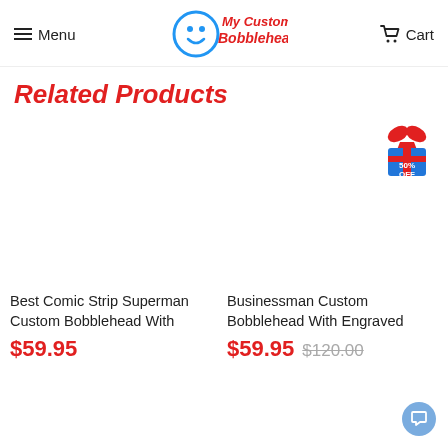Menu — My Custom Bobbleheads — Cart
Related Products
[Figure (photo): Product image placeholder for Best Comic Strip Superman Custom Bobblehead]
Best Comic Strip Superman Custom Bobblehead With
$59.95
[Figure (photo): Product image placeholder for Businessman Custom Bobblehead With Engraved, with 50% OFF discount badge]
Businessman Custom Bobblehead With Engraved
$59.95  $120.00